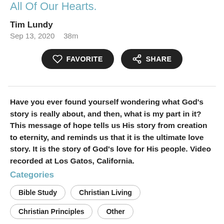All Of Our Hearts.
Tim Lundy
Sep 13, 2020   38m
FAVORITE   SHARE
Have you ever found yourself wondering what God's story is really about, and then, what is my part in it? This message of hope tells us His story from creation to eternity, and reminds us that it is the ultimate love story. It is the story of God's love for His people. Video recorded at Los Gatos, California.
Categories
Bible Study
Christian Living
Christian Principles
Other